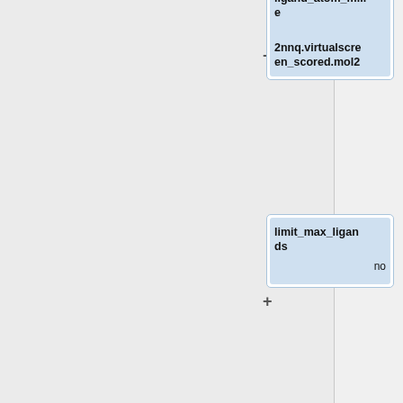[Figure (flowchart): Flowchart nodes showing configuration parameters for a virtual screening workflow. Visible nodes: '2nnq.virtualscreen_scored.mol2' with no value shown (cropped), 'limit_max_ligands' with value 'no', 'skip_molecule' with value 'no', 'read_mol_solvation' with value 'no', 'calculate_rmsd' with value 'no' (partially visible). Each node has a '+' button on the left side.]